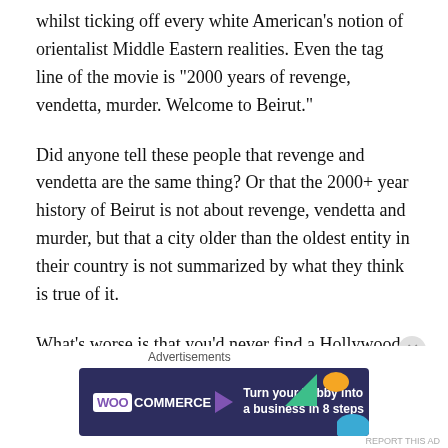whilst ticking off every white American's notion of orientalist Middle Eastern realities. Even the tag line of the movie is “2000 years of revenge, vendetta, murder. Welcome to Beirut.”
Did anyone tell these people that revenge and vendetta are the same thing? Or that the 2000+ year history of Beirut is not about revenge, vendetta and murder, but that a city older than the oldest entity in their country is not summarized by what they think is true of it.
What’s worse is that you’d never find a Hollywood movie, say, that is set in New York portray nothing relevant to the city and be named after it. You’d never find a movie set in
Advertisements
[Figure (other): WooCommerce advertisement banner with dark blue background. Logo shows 'WOO' in white box and 'COMMERCE' in white text with a left-pointing triangle/arrow. Tagline reads 'Turn your hobby into a business in 8 steps'. Decorative colored shapes (green triangle, orange and blue shapes) on the right side.]